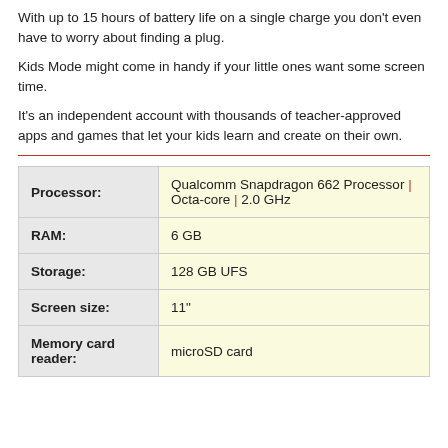With up to 15 hours of battery life on a single charge you don't even have to worry about finding a plug.
Kids Mode might come in handy if your little ones want some screen time.
It's an independent account with thousands of teacher-approved apps and games that let your kids learn and create on their own.
| Processor: | Qualcomm Snapdragon 662 Processor | Octa-core | 2.0 GHz |
| --- | --- |
| RAM: | 6 GB |
| Storage: | 128 GB UFS |
| Screen size: | 11" |
| Memory card reader: | microSD card |